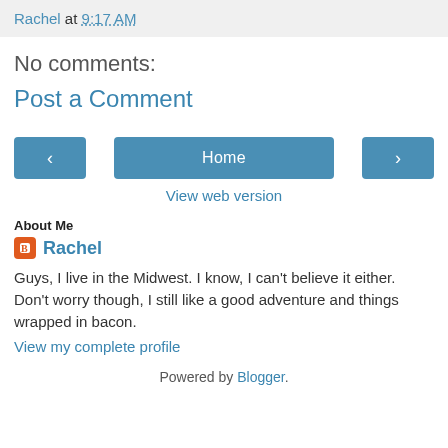Rachel at 9:17 AM
No comments:
Post a Comment
[Figure (other): Navigation buttons: left arrow button, Home button, right arrow button]
View web version
About Me
Rachel
Guys, I live in the Midwest. I know, I can't believe it either. Don't worry though, I still like a good adventure and things wrapped in bacon.
View my complete profile
Powered by Blogger.